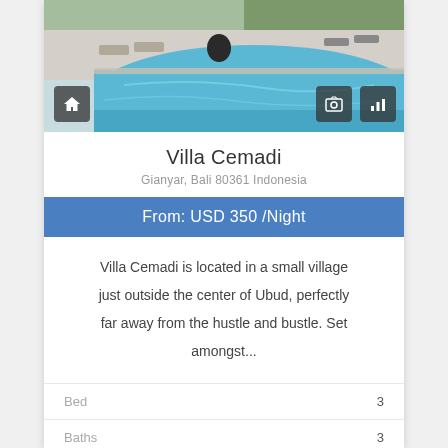[Figure (photo): Swimming pool with lounge chairs and tropical trees in background]
Villa Cemadi
Gianyar, Bali 80361 Indonesia
From: USD 350 /Night
Villa Cemadi is located in a small village just outside the center of Ubud, perfectly far away from the hustle and bustle. Set amongst...
|  |  |
| --- | --- |
| Bed | 3 |
| Baths | 3 |
| RRC# | BR-9429 |